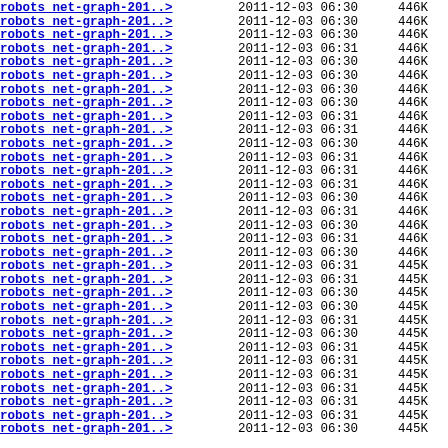| Name | Date | Size |
| --- | --- | --- |
| robots net-graph-201..> | 2011-12-03 06:30 | 446K |
| robots net-graph-201..> | 2011-12-03 06:30 | 446K |
| robots net-graph-201..> | 2011-12-03 06:30 | 446K |
| robots net-graph-201..> | 2011-12-03 06:31 | 446K |
| robots net-graph-201..> | 2011-12-03 06:30 | 446K |
| robots net-graph-201..> | 2011-12-03 06:30 | 446K |
| robots net-graph-201..> | 2011-12-03 06:30 | 446K |
| robots net-graph-201..> | 2011-12-03 06:30 | 446K |
| robots net-graph-201..> | 2011-12-03 06:31 | 446K |
| robots net-graph-201..> | 2011-12-03 06:31 | 446K |
| robots net-graph-201..> | 2011-12-03 06:30 | 446K |
| robots net-graph-201..> | 2011-12-03 06:31 | 446K |
| robots net-graph-201..> | 2011-12-03 06:31 | 446K |
| robots net-graph-201..> | 2011-12-03 06:31 | 446K |
| robots net-graph-201..> | 2011-12-03 06:30 | 446K |
| robots net-graph-201..> | 2011-12-03 06:31 | 446K |
| robots net-graph-201..> | 2011-12-03 06:30 | 446K |
| robots net-graph-201..> | 2011-12-03 06:31 | 446K |
| robots net-graph-201..> | 2011-12-03 06:30 | 446K |
| robots net-graph-201..> | 2011-12-03 06:31 | 445K |
| robots net-graph-201..> | 2011-12-03 06:31 | 445K |
| robots net-graph-201..> | 2011-12-03 06:30 | 445K |
| robots net-graph-201..> | 2011-12-03 06:30 | 445K |
| robots net-graph-201..> | 2011-12-03 06:31 | 445K |
| robots net-graph-201..> | 2011-12-03 06:30 | 445K |
| robots net-graph-201..> | 2011-12-03 06:31 | 445K |
| robots net-graph-201..> | 2011-12-03 06:31 | 445K |
| robots net-graph-201..> | 2011-12-03 06:31 | 445K |
| robots net-graph-201..> | 2011-12-03 06:31 | 445K |
| robots net-graph-201..> | 2011-12-03 06:31 | 445K |
| robots net-graph-201..> | 2011-12-03 06:31 | 445K |
| robots net-graph-201..> | 2011-12-03 06:30 | 445K |